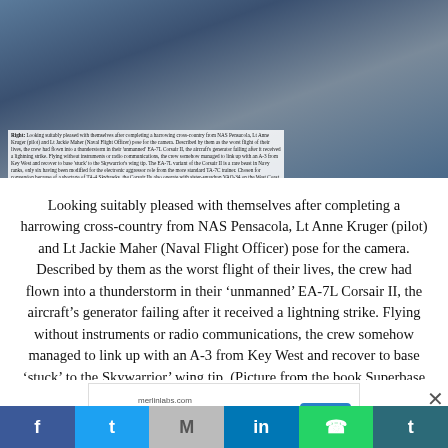[Figure (photo): Two people in flight suits walking on a tarmac near a military aircraft, wet conditions]
Right: Looking suitably pleased with themselves after completing a harrowing cross-country from NAS Pensacola, Lt Anne Kruger (pilot) and Lt Jackie Maher (Naval Flight Officer) pose for the camera. Described by them as the worst flight of their lives, the crew had flown into a thunderstorm in their 'unmanned' EA-7L Corsair II, the aircraft's generator failing after it received a lightning strike. Flying without instruments or radio communications, the crew somehow managed to link up with an A-3 from Key West and recover to base 'stuck' to the Skywarrior's wing tip. The EA-7L variant of the Corsair II is a rare beast in Navy ranks, only six having been modified for the electronic aggressor role from the more standard TA-7C trainer. Chosen for conversion because of a shortage of TA-4 Skyhawks, the Corsair IIs also operate with sister-squadron VAQ-34 on the West Coast, both the 'Firebirds' and the 'Electric Horsemen' performing as the flying units within the Fleet Electronic Warfare Support Group (FEWSG)
Looking suitably pleased with themselves after completing a harrowing cross-country from NAS Pensacola, Lt Anne Kruger (pilot) and Lt Jackie Maher (Naval Flight Officer) pose for the camera. Described by them as the worst flight of their lives, the crew had flown into a thunderstorm in their ‘unmanned’ EA-7L Corsair II, the aircraft’s generator failing after it received a lightning strike. Flying without instruments or radio communications, the crew somehow managed to link up with an A-3 from Key West and recover to base ‘stuck’ to the Skywarrior’ wing tip. (Picture from the book Superbase 24 KEY WEST ‘Top Guns’ of the East Coast, 1991, Osprey Publishing, George Hall)
[Figure (infographic): Advertisement: merlinlabs.com - Merlin Autonomous Flight - OPEN button]
[Figure (infographic): Social media sharing bar with Facebook, Twitter, Gmail, LinkedIn, WhatsApp, Tumblr icons]